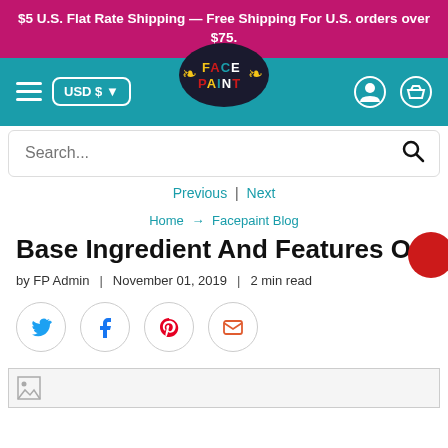$5 U.S. Flat Rate Shipping — Free Shipping For U.S. orders over $75.
[Figure (logo): Face Paint logo in dark oval with colorful lettering and wing decorations]
Search...
Previous | Next
Home → Facepaint Blog
Base Ingredient And Features Of Fac...
by FP Admin | November 01, 2019 | 2 min read
[Figure (illustration): Social share buttons: Twitter, Facebook, Pinterest, Email]
[Figure (photo): Article image placeholder (broken image icon)]